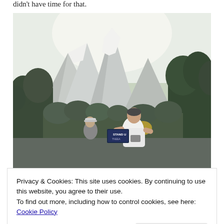didn't have time for that.
[Figure (photo): Two runners running along a path in front of a large snow-capped mountain structure (Expedition Everest attraction at Disney's Animal Kingdom), with trees in the background. One runner is in the foreground wearing a white shirt, another behind wearing a cap.]
Privacy & Cookies: This site uses cookies. By continuing to use this website, you agree to their use.
To find out more, including how to control cookies, see here: Cookie Policy

Close and accept